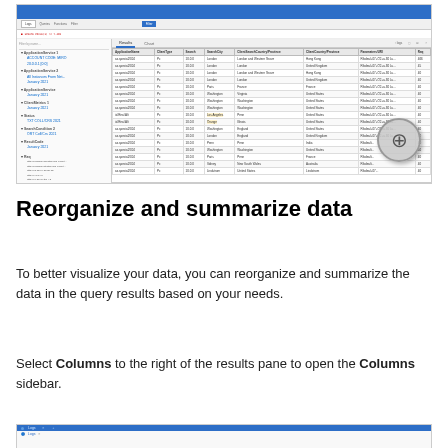[Figure (screenshot): Screenshot of a database query results interface showing a table with columns for ApplicationName, ClientType, Search, SearchCity, ClientSearchCountry/Province, ClientCountry/Province, Parameters/URI, and Req. The left sidebar shows a filter/navigation panel with expandable sections. A magnifying glass icon with a plus symbol appears in the lower right of the main content area.]
Reorganize and summarize data
To better visualize your data, you can reorganize and summarize the data in the query results based on your needs.
Select Columns to the right of the results pane to open the Columns sidebar.
[Figure (screenshot): Partial screenshot of the bottom of a query interface showing a toolbar with a Logs tab and navigation controls.]